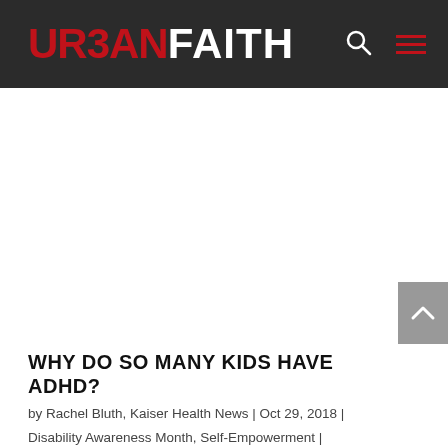URBAN FAITH
WHY DO SO MANY KIDS HAVE ADHD?
by Rachel Bluth, Kaiser Health News | Oct 29, 2018 |
Disability Awareness Month, Self-Empowerment |